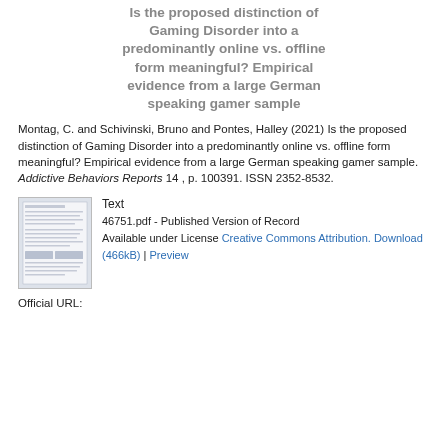Is the proposed distinction of Gaming Disorder into a predominantly online vs. offline form meaningful? Empirical evidence from a large German speaking gamer sample
Montag, C. and Schivinski, Bruno and Pontes, Halley (2021) Is the proposed distinction of Gaming Disorder into a predominantly online vs. offline form meaningful? Empirical evidence from a large German speaking gamer sample. Addictive Behaviors Reports 14 , p. 100391. ISSN 2352-8532.
[Figure (other): Thumbnail image of the published PDF document (46751.pdf)]
Text
46751.pdf - Published Version of Record
Available under License Creative Commons Attribution.
Download (466kB) | Preview
Official URL: